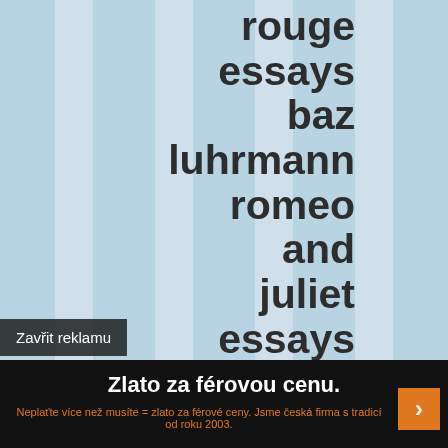[Figure (illustration): Light blue vertical striped background pattern]
rouge essays baz luhrmann romeo and juliet essays bba research or
Zavřit reklamu
Zlato za férovou cenu.
Neplaťte více než musíte = zlato za férové ceny. Jsme česká firma s tradicí od roku 2003.